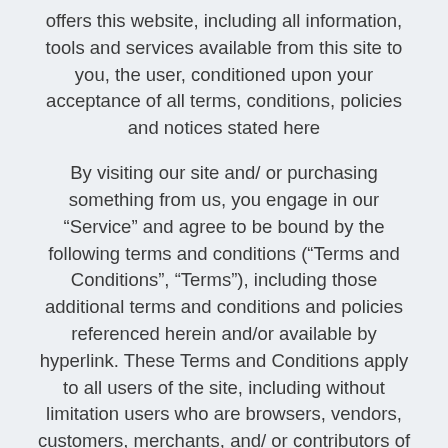offers this website, including all information, tools and services available from this site to you, the user, conditioned upon your acceptance of all terms, conditions, policies and notices stated here
By visiting our site and/ or purchasing something from us, you engage in our “Service” and agree to be bound by the following terms and conditions (“Terms and Conditions”, “Terms”), including those additional terms and conditions and policies referenced herein and/or available by hyperlink. These Terms and Conditions apply to all users of the site, including without limitation users who are browsers, vendors, customers, merchants, and/ or contributors of content.
Please read these Terms and Conditions carefully before accessing or using our website. By accessing or using any part of the site, you agree to be bound by these Terms and Conditions. If you do not agree to all the terms